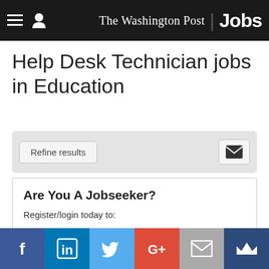The Washington Post Jobs
Help Desk Technician jobs in Education
Refine results
Are You A Jobseeker?
Register/login today to:
View saved jobs
View applications